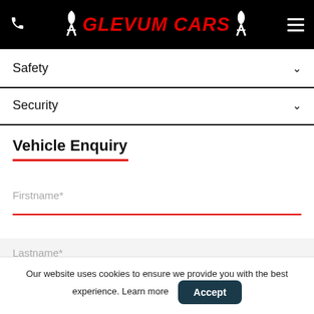Glevum Cars
Safety
Security
Vehicle Enquiry
Firstname*
Lastname*
Our website uses cookies to ensure we provide you with the best experience. Learn more